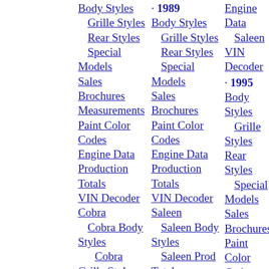Body Styles
Grille Styles
Rear Styles
Special Models
Sales
Brochures
Measurements
Paint Color Codes
Engine Data
Production Totals
VIN Decoder
Cobra
Cobra Body Styles
Cobra Grille Styles
Cobra Paint Colors
Cobra Prod Totals
Cobra VIN Decoder
· 1989
Body Styles
Grille Styles
Rear Styles
Special Models
Sales
Brochures
Paint Color Codes
Engine Data
Production Totals
VIN Decoder
Saleen
Saleen Body Styles
Saleen Prod Totals
Saleen Paint Colors
Saleen Engine Data
· 1995
Body Styles
Grille Styles
Rear Styles
Special Models
Sales
Brochures
Paint Color Codes
Engine Data
Production Totals
VIN
Decoder
Saleen Engine Data
Saleen VIN Decoder
· 2006
Body Styles
Grille Styles
Rear Styles
Special Models
Sales
Brochures
Paint Color Codes
Interior Color Codes
Engine Data
Axle Ratios
Options Available
Production Totals